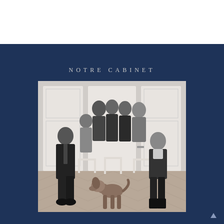NOTRE CABINET
[Figure (photo): Black and white group photo of approximately 8 lawyers and staff members posing in an elegant room with white paneled doors and herringbone parquet floor. A dog is visible in the foreground. People are dressed in formal/professional attire.]